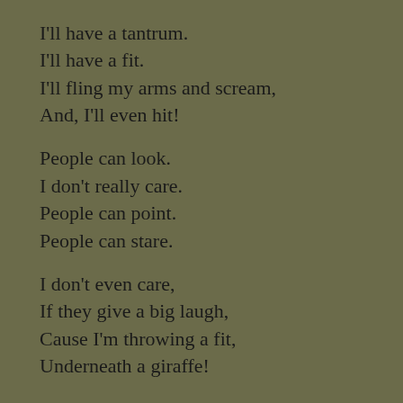I'll have a tantrum.
I'll have a fit.
I'll fling my arms and scream,
And, I'll even hit!

People can look.
I don't really care.
People can point.
People can stare.

I don't even care,
If they give a big laugh,
Cause I'm throwing a fit,
Underneath a giraffe!

I want it!  I want it!